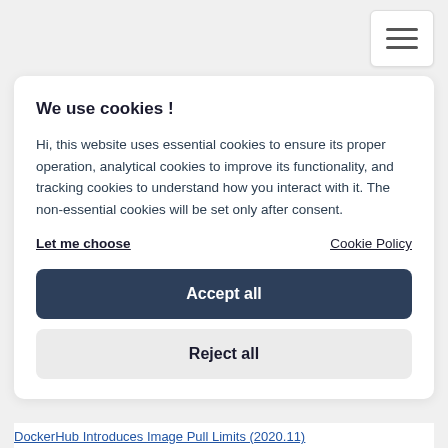[Figure (other): Hamburger menu icon button in top-right corner]
We use cookies !
Hi, this website uses essential cookies to ensure its proper operation, analytical cookies to improve its functionality, and tracking cookies to understand how you interact with it. The non-essential cookies will be set only after consent.
Let me choose
Cookie Policy
Accept all
Reject all
DockerHub Introduces Image Pull Limits (2020.11)